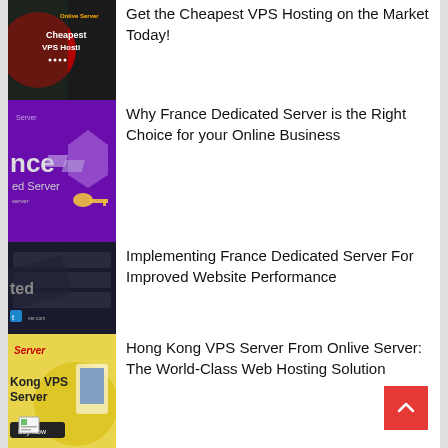[Figure (illustration): Cheapest VPS Hosting advertisement image with dark background and red circle, Onlive Server branding]
Get the Cheapest VPS Hosting on the Market Today!
[Figure (illustration): France Dedicated Server advertisement image with purple background and 3D server/shield/key graphics]
Why France Dedicated Server is the Right Choice for your Online Business
[Figure (illustration): France Dedicated Server advertisement image with dark background showing server hardware]
Implementing France Dedicated Server For Improved Website Performance
[Figure (illustration): Hong Kong VPS Server advertisement image with yellow background showing computer and Onlive Server branding]
Hong Kong VPS Server From Onlive Server: The World-Class Web Hosting Solution